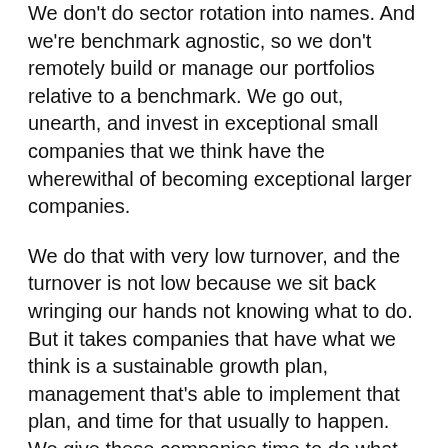We don't do sector rotation into names. And we're benchmark agnostic, so we don't remotely build or manage our portfolios relative to a benchmark. We go out, unearth, and invest in exceptional small companies that we think have the wherewithal of becoming exceptional larger companies.
We do that with very low turnover, and the turnover is not low because we sit back wringing our hands not knowing what to do. But it takes companies that have what we think is a sustainable growth plan, management that's able to implement that plan, and time for that usually to happen. We give these companies time to do what we expect them to do.
Hall: And they do it. A good example is Tyler Technologies, which is a company that provides software services for [continues below...]